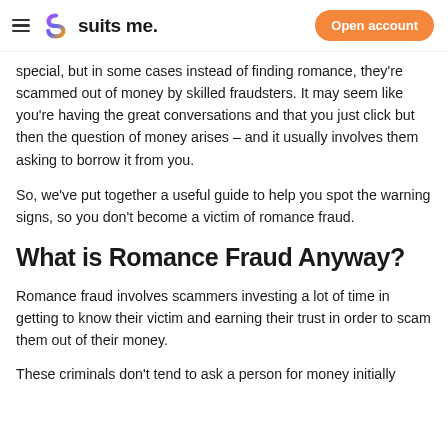suits me. | Open account
special, but in some cases instead of finding romance, they're scammed out of money by skilled fraudsters. It may seem like you're having the great conversations and that you just click but then the question of money arises – and it usually involves them asking to borrow it from you.
So, we've put together a useful guide to help you spot the warning signs, so you don't become a victim of romance fraud.
What is Romance Fraud Anyway?
Romance fraud involves scammers investing a lot of time in getting to know their victim and earning their trust in order to scam them out of their money.
These criminals don't tend to ask a person for money initially